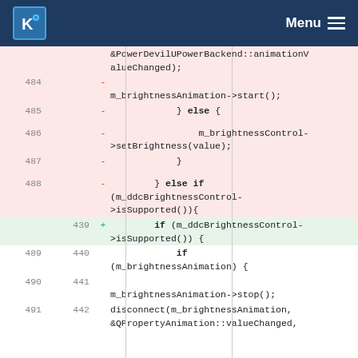KDE Menu
[Figure (screenshot): Code diff view showing changes to brightness animation control logic in a C++ source file. Removed lines (pink background) show old code, added lines (green background) show new code. Line numbers on left and right sides.]